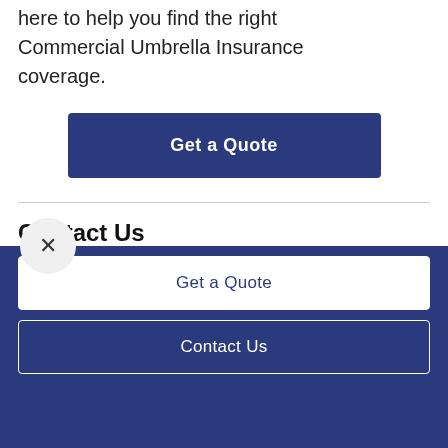here to help you find the right Commercial Umbrella Insurance coverage.
Get a Quote
Contact Us
Hodgenville, KY
rving clients throughout Kentucky and surroun
Get a Quote
Contact Us